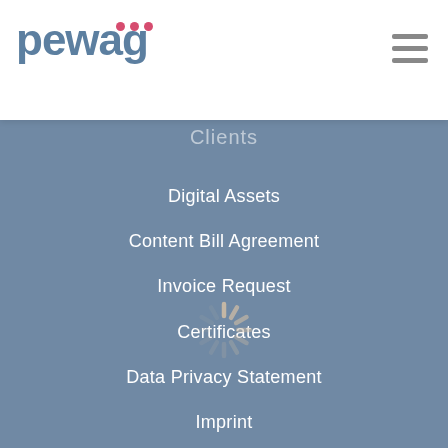[Figure (logo): Pewag company logo with pink/red dots above the letter 'a' and 'g', grey-blue text]
[Figure (infographic): Hamburger menu icon (three horizontal grey lines) in top right corner]
Digital Assets
Content Bill Agreement
Invoice Request
Certificates
Data Privacy Statement
Imprint
Cookie Consent Page